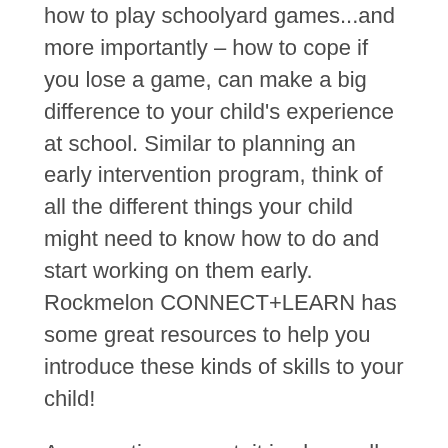how to play schoolyard games...and more importantly – how to cope if you lose a game, can make a big difference to your child's experience at school. Similar to planning an early intervention program, think of all the different things your child might need to know how to do and start working on them early. Rockmelon CONNECT+LEARN has some great resources to help you introduce these kinds of skills to your child!
As an autism parent, it is also really important to have a supportive group of people around you – this is your 'Team'! Your Team is made up of anyone who is there to support your child and help them reach their best outcome. It might be other family members, therapists, teachers or family friends. These people can help you get your child